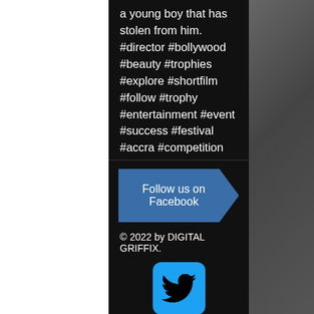a young boy that has stolen from him. #director #bollywood #beauty #trophies #explore #shortfilm #follow #trophy #entertainment #event #success #festival #accra #competition #filmmaking #awardsnight #awardsceremony #india #leadership #ghana
👁 16   💬 0   ♡
Follow us on Facebook
© 2022 by DIGITAL GRIFFIX.
[Figure (logo): Twitter bird logo on blue rounded square background]
[Figure (logo): LinkedIn 'in' logo on blue rounded square background]